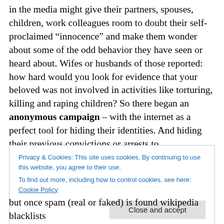in the media might give their partners, spouses, children, work colleagues room to doubt their self-proclaimed “innocence” and make them wonder about some of the odd behavior they have seen or heard about. Wifes or husbands of those reported: how hard would you look for evidence that your beloved was not involved in activities like torturing, killing and raping children? So there began an anonymous campaign – with the internet as a perfect tool for hiding their identities. And hiding their previous convictions or arrests to.
Privacy & Cookies: This site uses cookies. By continuing to use this website, you agree to their use.
To find out more, including how to control cookies, see here: Cookie Policy
but once spam (real or faked) is found wikipedia blacklists